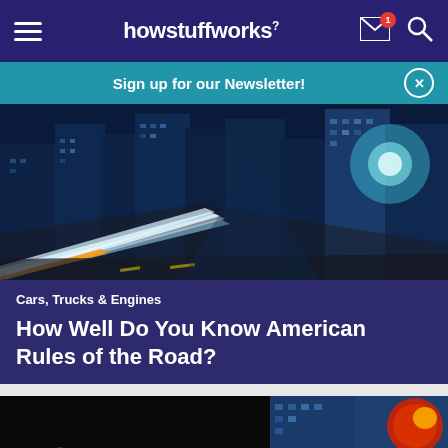howstuffworks
Sign up for our Newsletter!
[Figure (photo): Night city street with light trails and illuminated skyscrapers]
Cars, Trucks & Engines
How Well Do You Know American Rules of the Road?
[Figure (photo): Partial view of a second article image showing dark background with colorful elements]